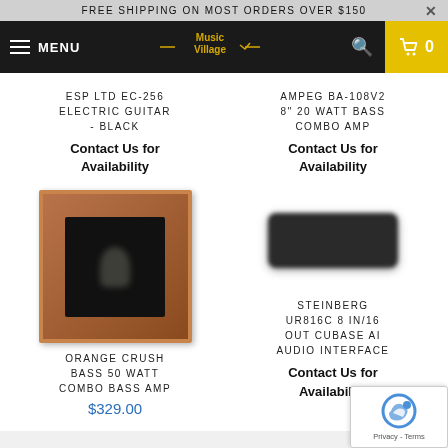FREE SHIPPING ON MOST ORDERS OVER $150
[Figure (screenshot): Music Village logo with navigation bar (MENU, logo, search, cart)]
ESP LTD EC-256 ELECTRIC GUITAR - BLACK
Contact Us for Availability
AMPEG BA-108V2 8" 20 WATT BASS COMBO AMP
Contact Us for Availability
[Figure (photo): Orange Crush Bass amplifier product photo - dark square image with brown frame]
[Figure (photo): Steinberg UR816C audio interface product photo - blurred dark device]
ORANGE CRUSH BASS 50 WATT COMBO BASS AMP
$329.00
STEINBERG UR816C 8 IN/16 OUT CUBASE AI AUDIO INTERFACE
Contact Us for Availability